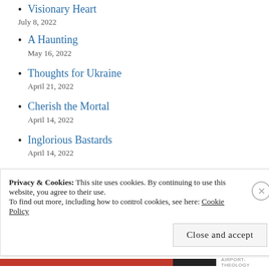Visionary Heart
July 8, 2022
A Haunting
May 16, 2022
Thoughts for Ukraine
April 21, 2022
Cherish the Mortal
April 14, 2022
Inglorious Bastards
April 14, 2022
Dreaded Whispers
March 6, 2022
Privacy & Cookies: This site uses cookies. By continuing to use this website, you agree to their use.
To find out more, including how to control cookies, see here: Cookie Policy
Close and accept